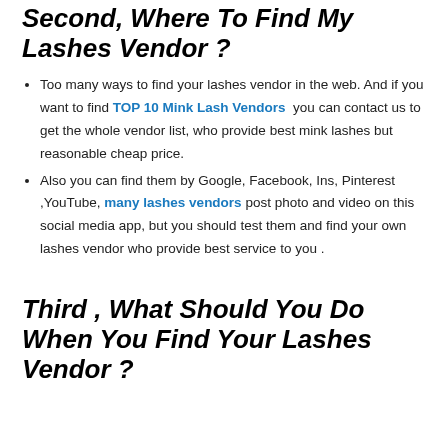Second, Where To Find My Lashes Vendor ?
Too many ways to find your lashes vendor in the web. And if you want to find TOP 10 Mink Lash Vendors  you can contact us to get the whole vendor list, who provide best mink lashes but reasonable cheap price.
Also you can find them by Google, Facebook, Ins, Pinterest ,YouTube, many lashes vendors post photo and video on this social media app, but you should test them and find your own lashes vendor who provide best service to you .
Third , What Should You Do When You Find Your Lashes Vendor ?